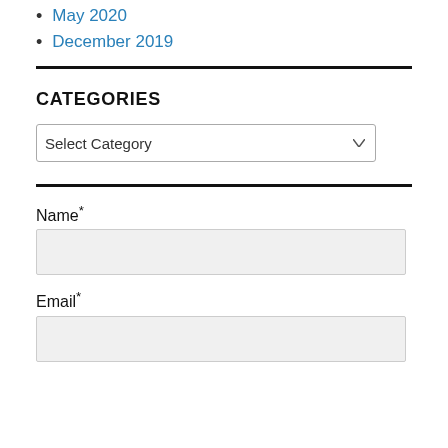May 2020
December 2019
CATEGORIES
[Figure (screenshot): A dropdown select box with the placeholder text 'Select Category' and a dropdown arrow on the right.]
Name*
[Figure (screenshot): A text input field for Name, with a light gray background.]
Email*
[Figure (screenshot): A text input field for Email, with a light gray background.]